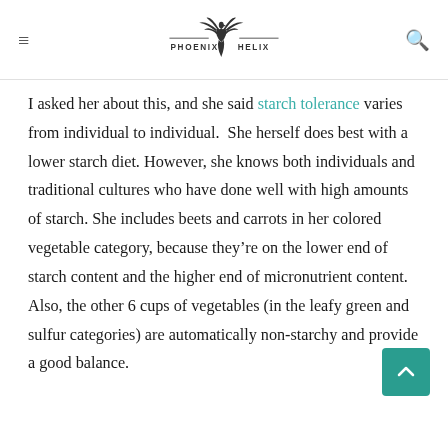PHOENIX HELIX
I asked her about this, and she said starch tolerance varies from individual to individual.  She herself does best with a lower starch diet. However, she knows both individuals and traditional cultures who have done well with high amounts of starch. She includes beets and carrots in her colored vegetable category, because they're on the lower end of starch content and the higher end of micronutrient content. Also, the other 6 cups of vegetables (in the leafy green and sulfur categories) are automatically non-starchy and provide a good balance.